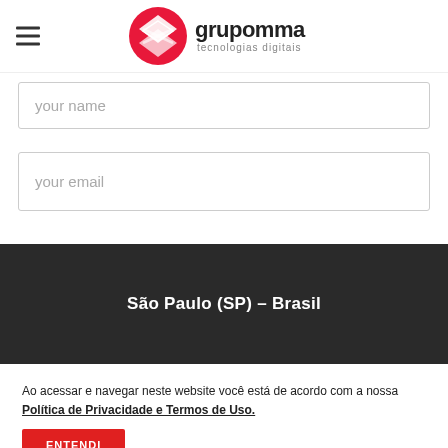[Figure (logo): Grupomma tecnologias digitais logo with red diamond icon and text]
your name
your email
São Paulo (SP) – Brasil
Ao acessar e navegar neste website você está de acordo com a nossa Política de Privacidade e Termos de Uso.
ENTENDI